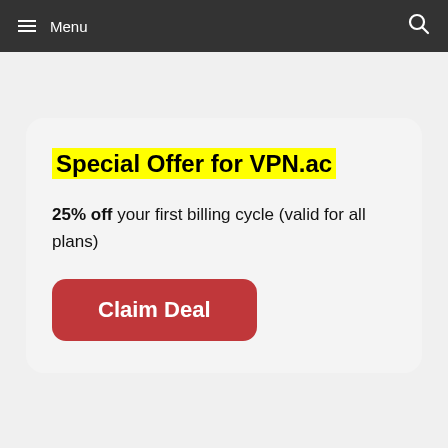Menu
Special Offer for VPN.ac
25% off your first billing cycle (valid for all plans)
Claim Deal